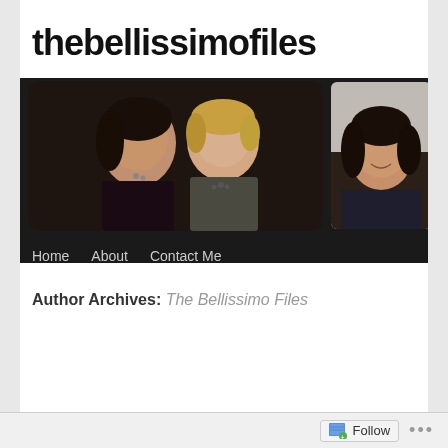thebellissimofiles
[Figure (photo): Website header banner showing two women posing together in the main photo (dark-haired woman and blonde woman at an event) and a separate photo of a dark-haired smiling woman, on a dark background with navigation bar showing Home, About, Contact Me]
Author Archives: The Bellissimo Files
Follow ...